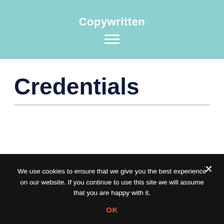Copywritten
[Figure (other): Hamburger menu icon with three horizontal white lines]
Credentials
We use cookies to ensure that we give you the best experience on our website. If you continue to use this site we will assume that you are happy with it.
OK